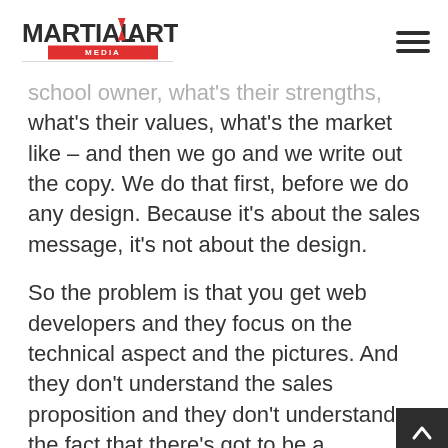[Figure (logo): Martial Arts Media logo with red banner saying MEDIA]
school owner, what's their strengths, what's their values, what's the market like – and then we go and we write out the copy. We do that first, before we do any design. Because it's about the sales message, it's not about the design.
So the problem is that you get web developers and they focus on the technical aspect and the pictures. And they don't understand the sales proposition and they don't understand the fact that there's got to be a